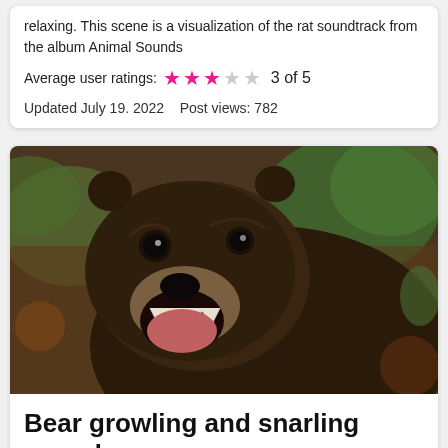relaxing. This scene is a visualization of the rat soundtrack from the album Animal Sounds
Average user ratings: ★★★☆☆ 3 of 5
Updated July 19. 2022   Post views: 782
[Figure (photo): Close-up photo of a grizzly bear with mouth wide open, snarling or roaring, set against a blurred forest background with green foliage and brown earth tones.]
Bear growling and snarling sounds
Visualization of the soundtrack Bear snarling and growling from the album Animal Sounds. 8 hours with the sound of an angry